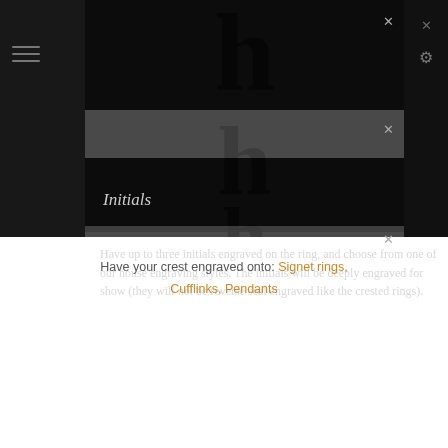[Figure (screenshot): Mobile app screenshot showing a dark leather-textured header with three horizontal bands and gray overlay panels, each with an X close button. A large watermark letter 'h' is repeated across the dark sections. The left sidebar shows a hamburger menu icon, and the right sidebar shows a gear/settings icon and X icons.]
Initials
Have your crest engraved onto: Signet rings, Cufflinks, Pendants
Have up to three initials engraved on the ring, and choose from one of our house engraving styles. The initials will be deeply engraved for show (they will not be reverse seal engraved like the crested rings).